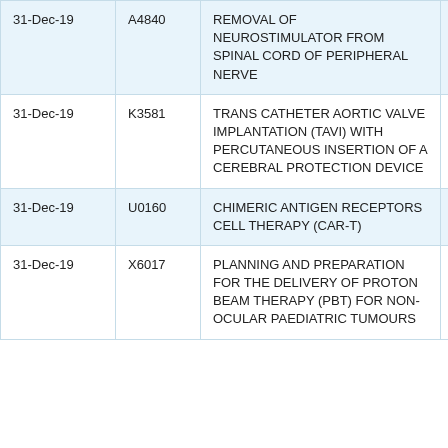| 31-Dec-19 | A4840 | REMOVAL OF NEUROSTIMULATOR FROM SPINAL CORD OF PERIPHERAL NERVE | CCSD delet |
| 31-Dec-19 | K3581 | TRANS CATHETER AORTIC VALVE IMPLANTATION (TAVI) WITH PERCUTANEOUS INSERTION OF A CEREBRAL PROTECTION DEVICE | NEW code eligib |
| 31-Dec-19 | U0160 | CHIMERIC ANTIGEN RECEPTORS CELL THERAPY (CAR-T) | New code |
| 31-Dec-19 | X6017 | PLANNING AND PREPARATION FOR THE DELIVERY OF PROTON BEAM THERAPY (PBT) FOR NON-OCULAR PAEDIATRIC TUMOURS | New code |